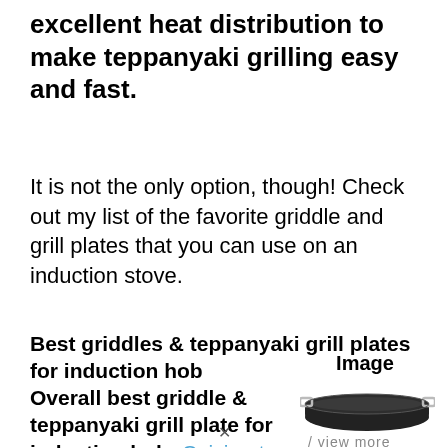excellent heat distribution to make teppanyaki grilling easy and fast.
It is not the only option, though! Check out my list of the favorite griddle and grill plates that you can use on an induction stove.
Best griddles & teppanyaki grill plates for induction hob
Image
Overall best griddle & teppanyaki grill plate for induction hob: Cuisinart
[Figure (photo): A dark non-stick griddle/teppanyaki grill plate with two silver handles on the sides]
view more